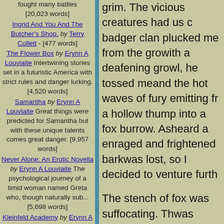fought many battles [20,023 words]
Ingrid And You And The Butcher's Shop. by Terry Collett - [477 words]
The Flower Box by Erynn A Louviaite Intertwining stories set in a futuristic America with strict rules and danger lurking. [4,520 words]
Samantha by Erynn A Louviaite Great things were predicted for Samantha but with these unique talents comes great danger. [9,957 words]
Never Alone: An Erotic Novella by Erynn A Louviaite The psychological journey of a timid woman named Greta who, though naturally sub... [5,698 words]
Kleinfeld Academy by Erynn A Louviaite This is no ordinary school. Discover its secrets with
grim. The vicious creatures had us cornered. The badger clan plucked me from the ground, and with a deafening growl, he tossed me, and the hot waves of fury emitting from a hollow thump into a fox burrow. As I heard a enraged and frightened bark was lost, so I decided to venture furth...
The stench of fox was suffocating. The tunnel was starting to get smaller and smaller. A shaft into the burrow, dappling the ground swimming through a current, I met a tiny opening and found myself in a larger the main area of the fox den. The creature glands. I coughed as I gave my dusty realized something was horribly wrong...
I screwed up my eyes. I noticed a bull reared up and slammed my paws down did I find out I had made a terrible mistake into my scruff. It lifted me into the air against a crumbling wall. My weight showered over the fox. I heard whining it was too late. The earth around me I raced through the burrow. I slipped milky sunlight filtering through the...